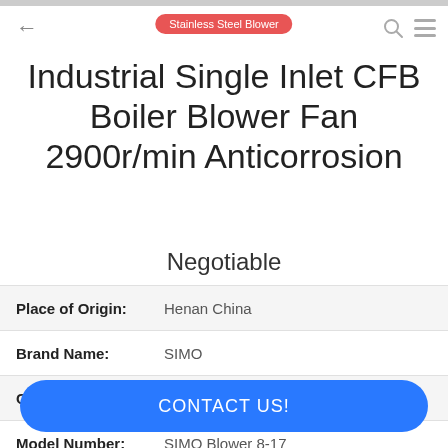Stainless Steel Blower
Product Details
Industrial Single Inlet CFB Boiler Blower Fan 2900r/min Anticorrosion
Negotiable
| Attribute | Value |
| --- | --- |
| Place of Origin: | Henan China |
| Brand Name: | SIMO |
| Certification: | CE, ISO9001:2008,TUV |
| Model Number: | SIMO Blower 8-17 |
CONTACT US!